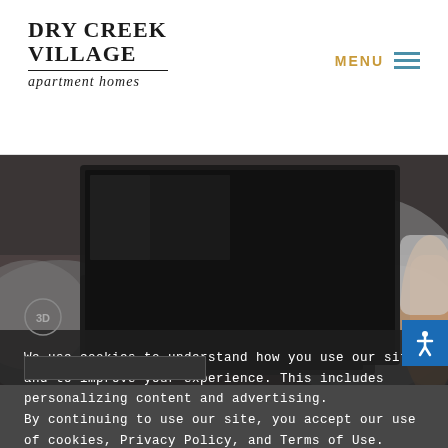DRY CREEK VILLAGE apartment homes
MENU
[Figure (photo): Person using a laptop computer on a bed with a chunky knit blanket, viewed from above at an angle. Dark moody tone.]
We use cookies to understand how you use our site and to improve your experience. This includes personalizing content and advertising. By continuing to use our site, you accept our use of cookies, Privacy Policy, and Terms of Use.
Learn more